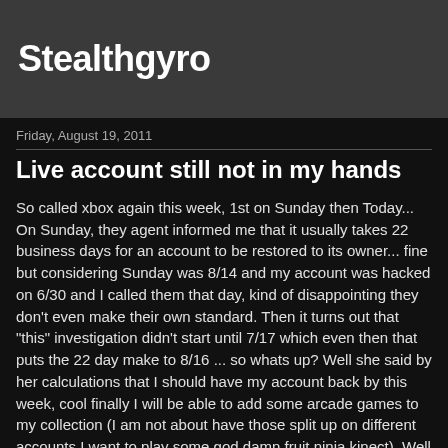Stealthgyro
Friday, August 19, 2011
Live account still not in my hands
So called xbox again this week, 1st on Sunday then Today... On Sunday, they agent informed me that it usually takes 22 business days for an account to be restored to its owner... fine but considering Sunday was 8/14 and my account was hacked on 6/30 and I called them that day, kind of disappointing they don't even make their own standard. Then it turns out that "this" investigation didn't start until 7/17 which even then that puts the 22 day make to 8/16 ... so whats up? Well she said by her calculations that I should have my account back by this week, cool finally I will be able to add some arcade games to my collection (I am not about have those split up on different accounts I want to play some god damn fruit ninja kinect). Well today is Friday and I have